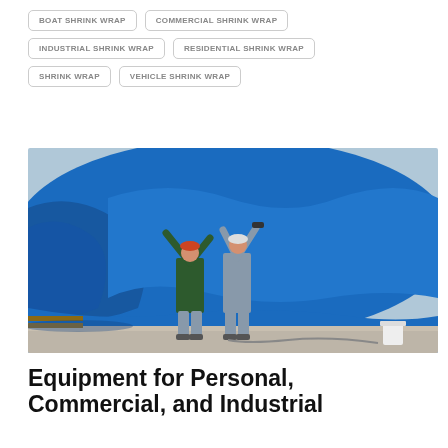BOAT SHRINK WRAP
COMMERCIAL SHRINK WRAP
INDUSTRIAL SHRINK WRAP
RESIDENTIAL SHRINK WRAP
SHRINK WRAP
VEHICLE SHRINK WRAP
[Figure (photo): Two workers applying blue shrink wrap to a large piece of equipment outdoors on a paved surface.]
Equipment for Personal, Commercial, and Industrial